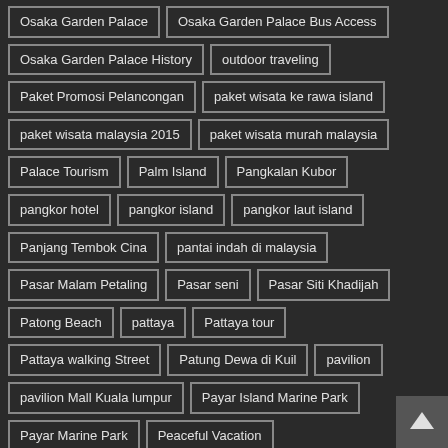Osaka Garden Palace
Osaka Garden Palace Bus Access
Osaka Garden Palace History
outdoor traveling
Paket Promosi Pelancongan
paket wisata ke rawa island
paket wisata malaysia 2015
paket wisata murah malaysia
Palace Tourism
Palm Island
Pangkalan Kubor
pangkor hotel
pangkor island
pangkor laut island
Panjang Tembok Cina
pantai indah di malaysia
Pasar Malam Petaling
Pasar seni
Pasar Siti Khadijah
Patong Beach
pattaya
Pattaya tour
Pattaya walking Street
Patung Dewa di Kuil
pavilion
pavilion Mall Kuala lumpur
Payar Island Marine Park
Payar Marine Park
Peaceful Vacation
pedoman pergi melancong keluar negara
pelabuhan port klang ke tanjung balai asahan Indonesia